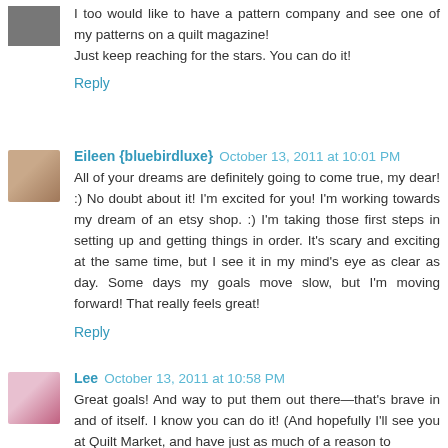I too would like to have a pattern company and see one of my patterns on a quilt magazine!
Just keep reaching for the stars. You can do it!
Reply
Eileen {bluebirdluxe}  October 13, 2011 at 10:01 PM
All of your dreams are definitely going to come true, my dear! :) No doubt about it! I'm excited for you! I'm working towards my dream of an etsy shop. :) I'm taking those first steps in setting up and getting things in order. It's scary and exciting at the same time, but I see it in my mind's eye as clear as day. Some days my goals move slow, but I'm moving forward! That really feels great!
Reply
Lee  October 13, 2011 at 10:58 PM
Great goals! And way to put them out there—that's brave in and of itself. I know you can do it! (And hopefully I'll see you at Quilt Market, and have just as much of a reason to